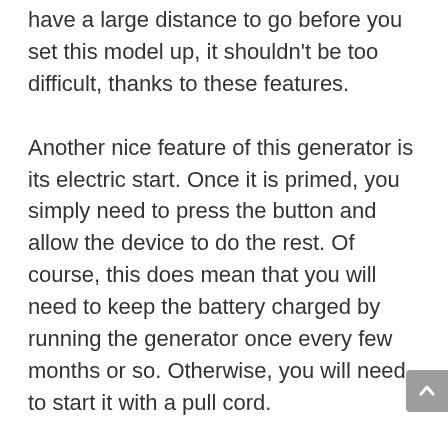that locks into place securely. Even if you have a large distance to go before you set this model up, it shouldn't be too difficult, thanks to these features.
Another nice feature of this generator is its electric start. Once it is primed, you simply need to press the button and allow the device to do the rest. Of course, this does mean that you will need to keep the battery charged by running the generator once every few months or so. Otherwise, you will need to start it with a pull cord.
It is very easy to set this generator up,